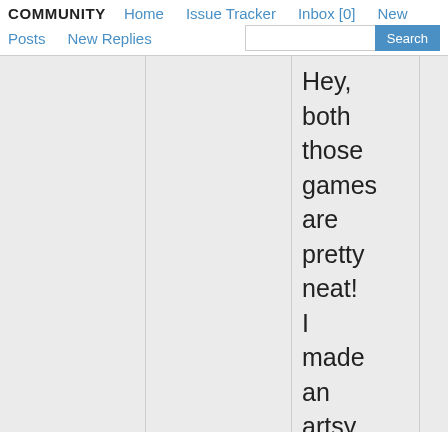COMMUNITY  Home  Issue Tracker  Inbox [0]  New  Posts  New Replies  Search
Hey, both those games are pretty neat! I made an artsy game for LD26 named "Minimalis in Art and